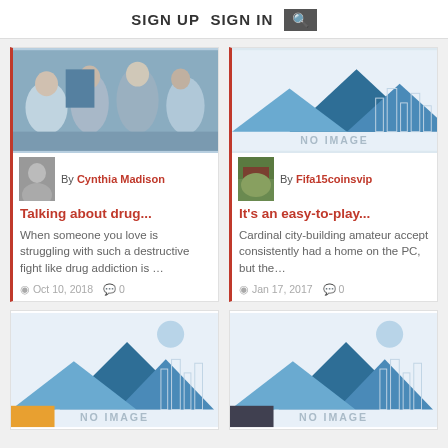SIGN UP   SIGN IN   🔍
[Figure (photo): Group therapy session photo]
By Cynthia Madison
Talking about drug...
When someone you love is struggling with such a destructive fight like drug addiction is …
Oct 10, 2018   0
[Figure (illustration): NO IMAGE placeholder with mountain graphic]
By Fifa15coinsvip
It's an easy-to-play...
Cardinal city-building amateur accept consistently had a home on the PC, but the…
Jan 17, 2017   0
[Figure (illustration): NO IMAGE placeholder with mountain graphic (bottom left)]
[Figure (illustration): NO IMAGE placeholder with mountain graphic (bottom right)]